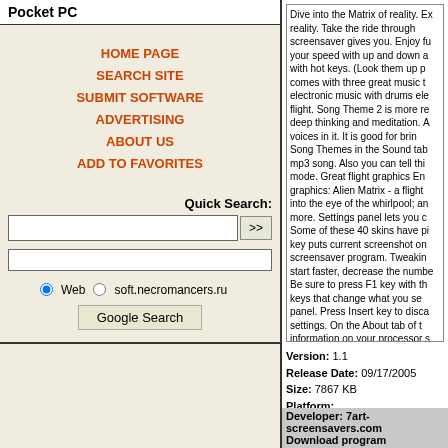Pocket PC
HOME PAGE
SEARCH SITE
SUBMIT SOFTWARE
ADVERTISING
ABOUT US
ADD TO FAVORITES
Quick Search:
Web   soft.necromancers.ru
Google Search
Dive into the Matrix of reality. Ex reality. Take the ride through screensaver gives you. Enjoy fu your speed with up and down a with hot keys. (Look them up p comes with three great music t electronic music with drums ele flight. Song Theme 2 is more re deep thinking and meditation. A voices in it. It is good for brin Song Themes in the Sound tab mp3 song. Also you can tell thi mode. Great flight graphics En graphics: Alien Matrix - a flight into the eye of the whirlpool; an more. Settings panel lets you c Some of these 40 skins have pi key puts current screenshot on screensaver program. Tweakin start faster, decrease the numbe Be sure to press F1 key with th keys that change what you se panel. Press Insert key to disca settings. On the About tab of t information on your processor s
Version: 1.1
Release Date: 09/17/2005
Size: 7867 KB
Platform:
Win95,Win98,WinME,WinXP,WinNT 4.x,Windows2000
Requirements: Celeron 300/32 Mb
Developer: 7art-screensavers.com
Download program